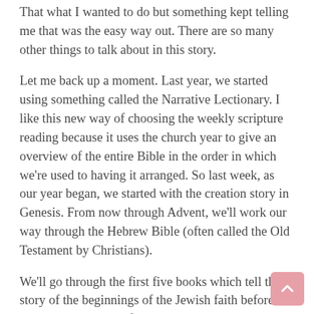That what I wanted to do but something kept telling me that was the easy way out.  There are so many other things to talk about in this story.
Let me back up a moment.  Last year, we started using something called the Narrative Lectionary.  I like this new way of choosing the weekly scripture reading because it uses the church year to give an overview of the entire Bible in the order in which we're used to having it arranged.  So last week, as our year began, we started with the creation story in Genesis.  From now through Advent, we'll work our way through the Hebrew Bible (often called the Old Testament by Christians).
We'll go through the first five books which tell the story of the beginnings of the Jewish faith before we turn to the writings of the Prophets who told about the coming Kingdom of God and imagined a messiah who would lead people to a peaceful world.  The Jesus story begins, appropriately, at Christmas.